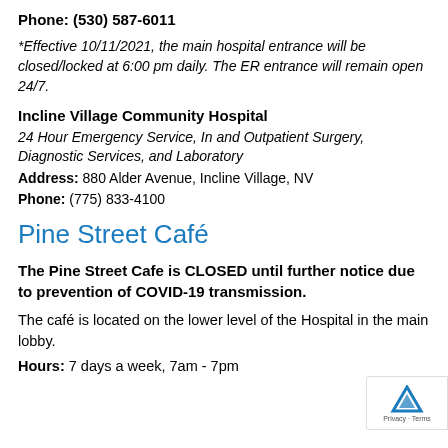Phone: (530) 587-6011
*Effective 10/11/2021, the main hospital entrance will be closed/locked at 6:00 pm daily. The ER entrance will remain open 24/7.
Incline Village Community Hospital
24 Hour Emergency Service, In and Outpatient Surgery, Diagnostic Services, and Laboratory
Address: 880 Alder Avenue, Incline Village, NV
Phone: (775) 833-4100
Pine Street Café
The Pine Street Cafe is CLOSED until further notice due to prevention of COVID-19 transmission.
The café is located on the lower level of the Hospital in the main lobby.
Hours: 7 days a week, 7am - 7pm